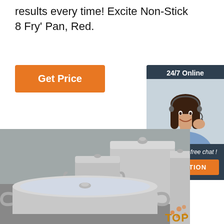results every time! Excite Non-Stick 8 Fry' Pan, Red.
[Figure (other): Orange 'Get Price' button]
[Figure (other): Support widget with '24/7 Online' header, photo of woman with headset, 'Click here for free chat!' text, and orange 'QUOTATION' button]
[Figure (photo): Photo of stainless steel cookware pots with glass lids on a gray background, with a 'TOP' badge in the bottom right corner]